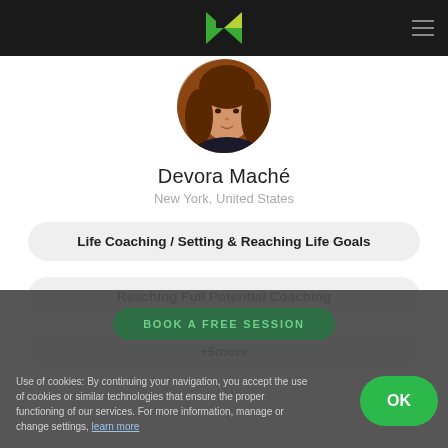Noomii header with logo and hamburger menu
[Figure (photo): Circular profile photo of Devora Maché, a woman with long wavy auburn hair, wearing a dark top]
Devora Maché
New York, United States
Life Coaching / Setting & Reaching Life Goals
Reaching Full Potential Coaching
+5more
BOOK A FREE SESSION
Use of cookies: By continuing your navigation, you accept the use of cookies or similar technologies that ensure the proper functioning of our services. For more information, manage or change settings, learn more
OK